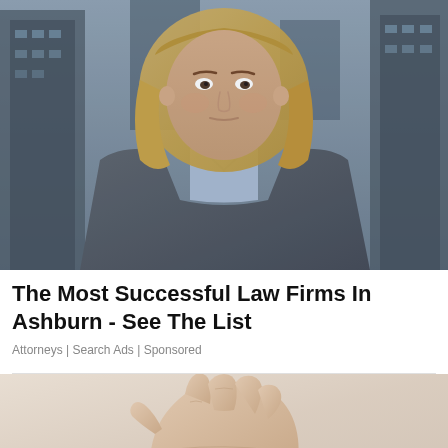[Figure (photo): Professional woman with blonde hair wearing a grey blazer and light blue shirt, standing outdoors in front of city buildings with a serious expression]
The Most Successful Law Firms In Ashburn - See The List
Attorneys | Search Ads | Sponsored
[Figure (photo): Close-up of an outstretched human hand/palm holding small red pills or capsules on a light background]